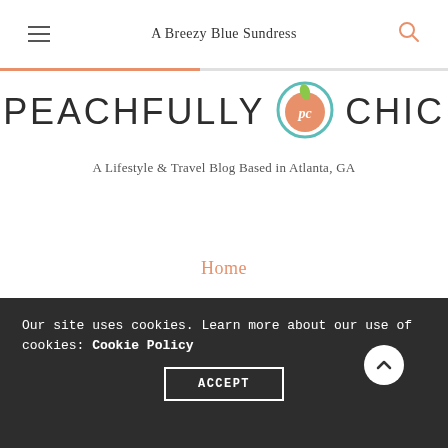A Breezy Blue Sundress
[Figure (logo): Peachfully Chic logo with peach icon between PEACHFULLY and CHIC text]
A Lifestyle & Travel Blog Based in Atlanta, GA
Home
About
Entertaining
Shop
Our site uses cookies. Learn more about our use of cookies: Cookie Policy
ACCEPT